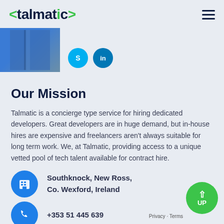[Figure (logo): Talmatic logo with green angle brackets and green dot on the i]
[Figure (photo): Partial photo of a person in white shirt, with Skype and LinkedIn social icons]
Our Mission
Talmatic is a concierge type service for hiring dedicated developers. Great developers are in huge demand, but in-house hires are expensive and freelancers aren't always suitable for long term work. We, at Talmatic, providing access to a unique vetted pool of tech talent available for contract hire.
Southknock, New Ross,
Co. Wexford, Ireland
+353 51 445 639